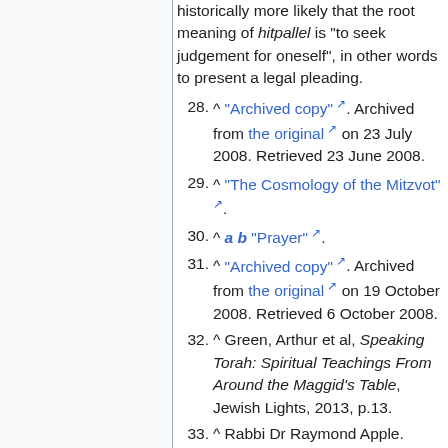historically more likely that the root meaning of hitpallel is "to seek judgement for oneself", in other words to present a legal pleading.
28. ^ "Archived copy". Archived from the original on 23 July 2008. Retrieved 23 June 2008.
29. ^ "The Cosmology of the Mitzvot".
30. ^ a b "Prayer".
31. ^ "Archived copy". Archived from the original on 19 October 2008. Retrieved 6 October 2008.
32. ^ Green, Arthur et al, Speaking Torah: Spiritual Teachings From Around the Maggid's Table, Jewish Lights, 2013, p.13.
33. ^ Rabbi Dr Raymond Apple. "OzTorah – Where does "Daven" come from – Ask the Rabbi". Retrieved 20 May 2013.
34. ^ The Jews of Khazaria, 2nd ed. Rowman & Littlefield 2006, p. 206
35. ^ Herbert Zeiden, "Davenen: a